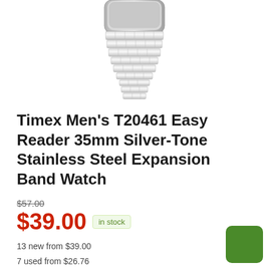[Figure (photo): Partial product photo of a Timex watch with silver stainless steel expansion band, cropped showing only bottom portion of watch case and band]
Timex Men's T20461 Easy Reader 35mm Silver-Tone Stainless Steel Expansion Band Watch
$57.00 (strikethrough original price)
$39.00 in stock
13 new from $39.00
7 used from $26.76
Free shipping
BUY NOW